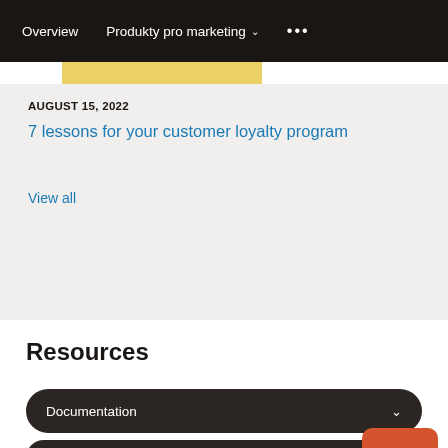Overview  Produkty pro marketing  ...
AUGUST 15, 2022
7 lessons for your customer loyalty program
View all
Resources
Documentation
Training